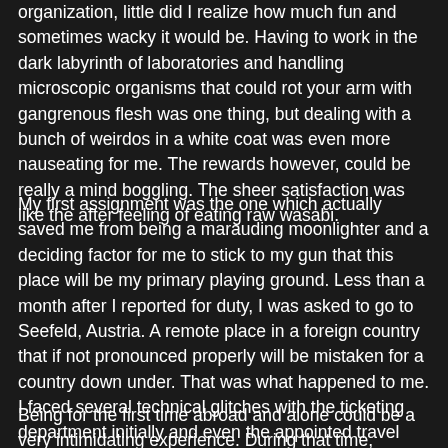organization, little did I realize how much fun and sometimes wacky it would be. Having to work in the dark labyrinth of laboratories and handling microscopic organisms that could rot your arm with gangrenous flesh was one thing, but dealing with a bunch of weirdos in a white coat was even more nauseating for me. The rewards however, could be really a mind boggling. The sheer satisfaction was like the after feeling of eating raw wasabi.
My first assignment was the one which actually saved me from being a marauding moonlighter and a deciding factor for me to stick to my gun that this place will be my primary playing ground. Less than a month after I reported for duty, I was asked to go to Seefeld, Austria. A remote place in a foreign country that if not pronounced properly will be mistaken for a country down under. That was what happened to me. I faced several technical glitches with the ticketing department initially and even the appointed travel agent didn't quite sure where the place was.
Being for the first time abroad and alone could be a very intimidating experience. During that time, Singapore was the